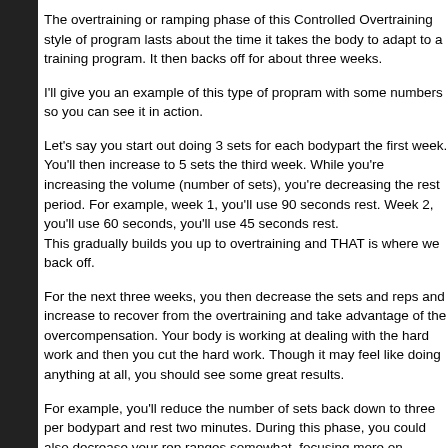The overtraining or ramping phase of this Controlled Overtraining style of program lasts about the time it takes the body to adapt to a training program. It then backs off for about three weeks.
I'll give you an example of this type of propram with some numbers so you can see it in action.
Let's say you start out doing 3 sets for each bodypart the first week. You'll then increase to 5 sets the third week. While you're increasing the volume (number of sets), you're decreasing the rest period. For example, week 1, you'll use 90 seconds rest. Week 2, you'll use 60 seconds, you'll use 45 seconds rest.
This gradually builds you up to overtraining and THAT is where we back off.
For the next three weeks, you then decrease the sets and reps and increase the weight to recover from the overtraining and take advantage of the overcompensation. Your body is working at dealing with the hard work and then you cut the hard work. Though it may feel like doing anything at all, you should see some great results.
For example, you'll reduce the number of sets back down to three per bodypart and rest two minutes. During this phase, you could also decrease your rep ranges somewhat, focusing more on strength. You can see some BIG TIME results during this phase.
Continue this lower-volume training for at least three weeks. If, at the end of three weeks you're making progress, keep going! Don't cut yourself off from any results. This phase can last six weeks or more. When you start to slow down, however, it's time to ramp back up to the high volume. This cycling of volume and intensity is a strategy that gives consistent results over